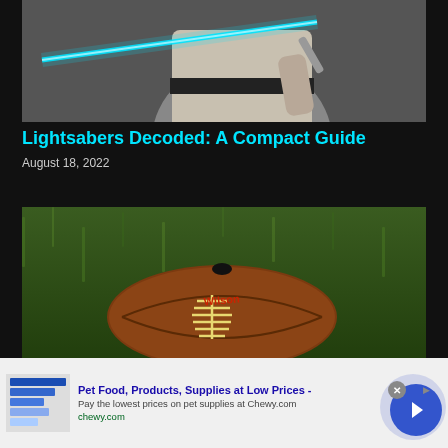[Figure (photo): Person in Jedi robes holding a glowing blue lightsaber against a gray background]
Lightsabers Decoded: A Compact Guide
August 18, 2022
[Figure (photo): A Wilson football resting on green grass, shot from above]
Pet Food, Products, Supplies at Low Prices -
Pay the lowest prices on pet supplies at Chewy.com
chewy.com